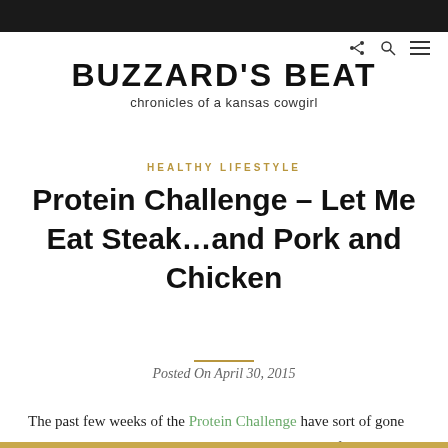BUZZARD'S BEAT
chronicles of a kansas cowgirl
HEALTHY LIFESTYLE
Protein Challenge – Let Me Eat Steak…and Pork and Chicken
Posted On April 30, 2015
The past few weeks of the Protein Challenge have sort of gone by in a blur. Actually, April in general went by in a flash! How is